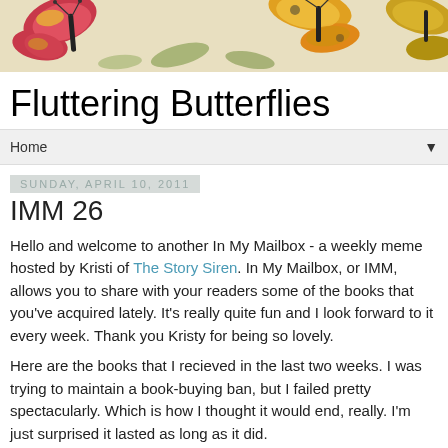[Figure (illustration): Blog header image with colorful butterflies on a cream/beige background]
Fluttering Butterflies
Home ▼
Sunday, April 10, 2011
IMM 26
Hello and welcome to another In My Mailbox - a weekly meme hosted by Kristi of The Story Siren. In My Mailbox, or IMM, allows you to share with your readers some of the books that you've acquired lately. It's really quite fun and I look forward to it every week. Thank you Kristy for being so lovely.
Here are the books that I recieved in the last two weeks. I was trying to maintain a book-buying ban, but I failed pretty spectacularly. Which is how I thought it would end, really. I'm just surprised it lasted as long as it did.